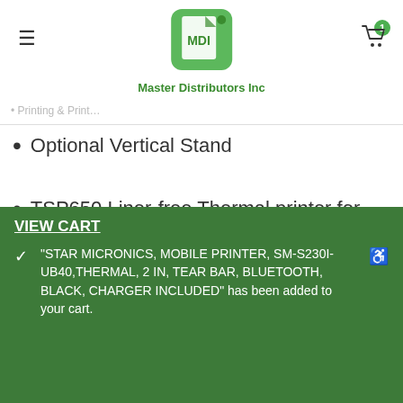Master Distributors Inc — navigation header with hamburger menu, MDI logo, and cart icon with badge 1
Optional Vertical Stand
TSP650 Liner-free Thermal printer for Sticky paper, Auto-cutter, USB, Gray, External Power Supply Included
Note: STOCK ISSUES – PLEASE EMAIL US BEFORE PLACING YOUR ORDER AT
VIEW CART
"STAR MICRONICS, MOBILE PRINTER, SM-S230I-UB40,THERMAL, 2 IN, TEAR BAR, BLUETOOTH, BLACK, CHARGER INCLUDED" has been added to your cart.